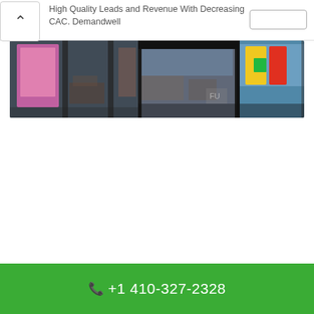High Quality Leads and Revenue With Decreasing CAC. Demandwell
[Figure (photo): A wide horizontal strip photograph showing a storefront or building exterior with large glass windows reflecting colorful imagery and urban surroundings.]
📞 +1 410-327-2328